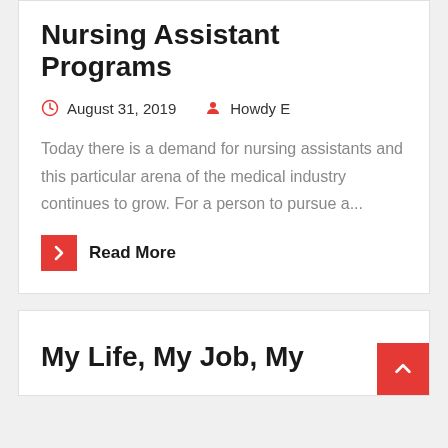Nursing Assistant Programs
August 31, 2019  Howdy E
Today there is a demand for nursing assistants and this particular arena of the medical industry continues to grow. For a person to pursue a...
Read More
My Life, My Job, My